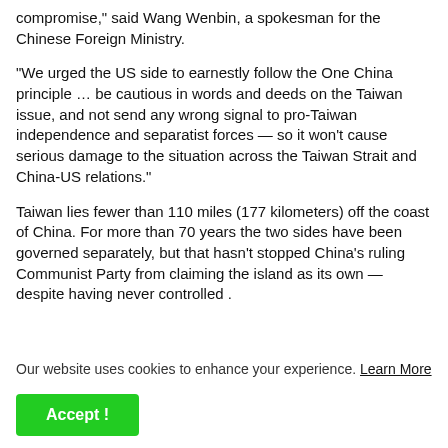compromise," said Wang Wenbin, a spokesman for the Chinese Foreign Ministry.
"We urged the US side to earnestly follow the One China principle … be cautious in words and deeds on the Taiwan issue, and not send any wrong signal to pro-Taiwan independence and separatist forces — so it won't cause serious damage to the situation across the Taiwan Strait and China-US relations."
Taiwan lies fewer than 110 miles (177 kilometers) off the coast of China. For more than 70 years the two sides have been governed separately, but that hasn't stopped China's ruling Communist Party from claiming the island as its own — despite having never controlled .
Our website uses cookies to enhance your experience. Learn More
Accept !